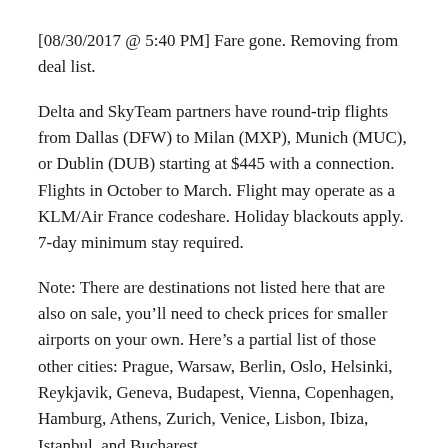[08/30/2017 @ 5:40 PM] Fare gone. Removing from deal list.
Delta and SkyTeam partners have round-trip flights from Dallas (DFW) to Milan (MXP), Munich (MUC), or Dublin (DUB) starting at $445 with a connection. Flights in October to March. Flight may operate as a KLM/Air France codeshare. Holiday blackouts apply. 7-day minimum stay required.
Note: There are destinations not listed here that are also on sale, you’ll need to check prices for smaller airports on your own. Here’s a partial list of those other cities: Prague, Warsaw, Berlin, Oslo, Helsinki, Reykjavik, Geneva, Budapest, Vienna, Copenhagen, Hamburg, Athens, Zurich, Venice, Lisbon, Ibiza, Istanbul, and Bucharest.